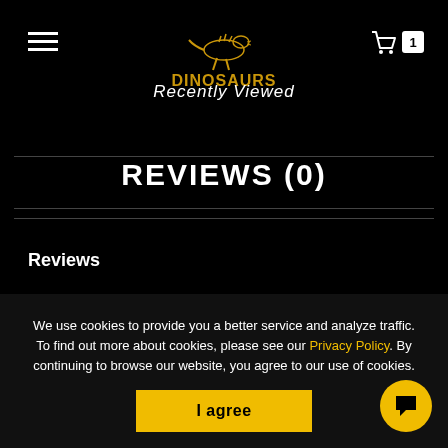[Figure (logo): Dinosaurs brand logo in yellow/gold with dinosaur illustration on black background]
Recently Viewed
REVIEWS (0)
Reviews
We use cookies to provide you a better service and analyze traffic. To find out more about cookies, please see our Privacy Policy. By continuing to browse our website, you agree to our use of cookies.